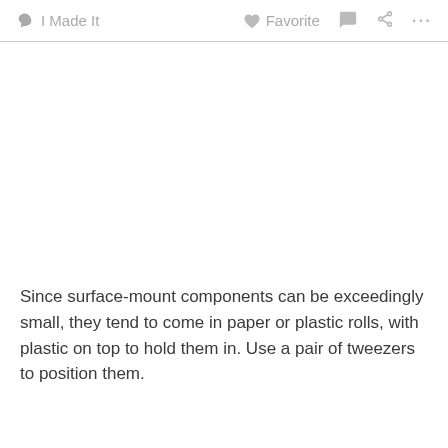I Made It   Favorite
[Figure (photo): White/blank image area where a photo would appear]
Since surface-mount components can be exceedingly small, they tend to come in paper or plastic rolls, with plastic on top to hold them in. Use a pair of tweezers to position them.